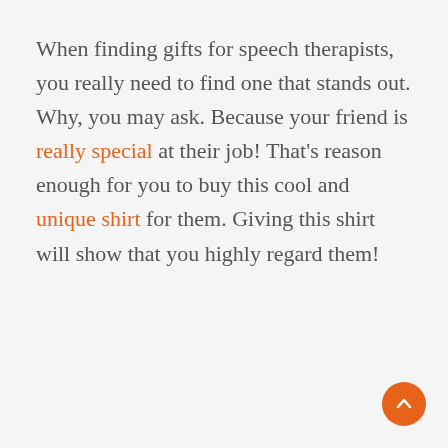When finding gifts for speech therapists, you really need to find one that stands out. Why, you may ask. Because your friend is really special at their job! That's reason enough for you to buy this cool and unique shirt for them. Giving this shirt will show that you highly regard them!